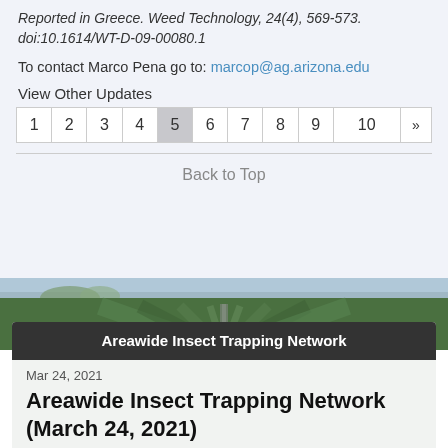Reported in Greece. Weed Technology, 24(4), 569-573. doi:10.1614/WT-D-09-00080.1
To contact Marco Pena go to: marcop@ag.arizona.edu
View Other Updates
Pagination: 1 2 3 4 5 (active) 6 7 8 9 10 »
Back to Top
[Figure (photo): Agricultural field with green crops and road, sky in background]
Areawide Insect Trapping Network
Mar 24, 2021
Areawide Insect Trapping Network (March 24, 2021)
Results of pheromone and sticky trap catches can be